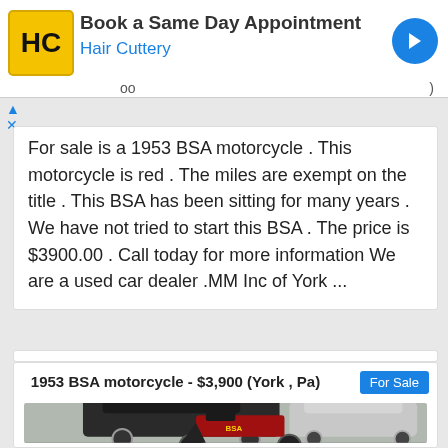[Figure (screenshot): Hair Cuttery advertisement banner with logo, 'Book a Same Day Appointment' headline, and blue directional arrow icon]
For sale is a 1953 BSA motorcycle . This motorcycle is red . The miles are exempt on the title . This BSA has been sitting for many years . We have not tried to start this BSA . The price is $3900.00 . Call today for more information We are a used car dealer .MM Inc of York ...
For Sale
1953 BSA motorcycle - $3,900 (York , Pa)
[Figure (photo): Photograph of a red 1953 BSA motorcycle parked in a lot, with a dark classic car and a silver modern car visible in the background]